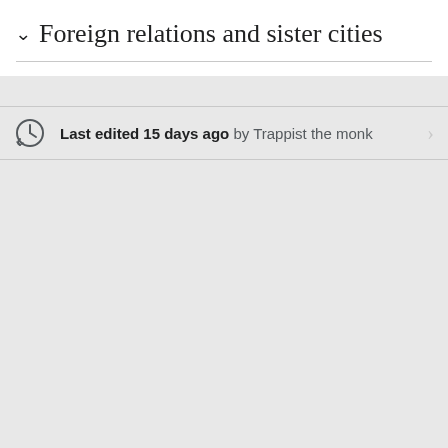Foreign relations and sister cities
Last edited 15 days ago by Trappist the monk